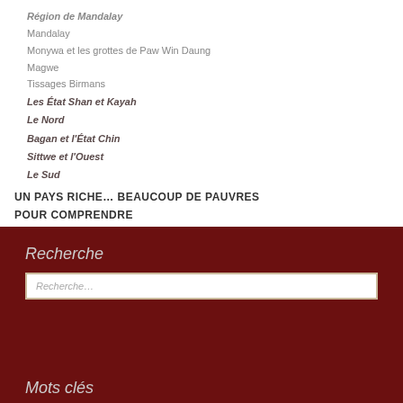Région de Mandalay
Mandalay
Monywa et les grottes de Paw Win Daung
Magwe
Tissages Birmans
Les État Shan et Kayah
Le Nord
Bagan et l'État Chin
Sittwe et l'Ouest
Le Sud
UN PAYS RICHE… BEAUCOUP DE PAUVRES
POUR COMPRENDRE
Recherche
Recherche...
Mots clés